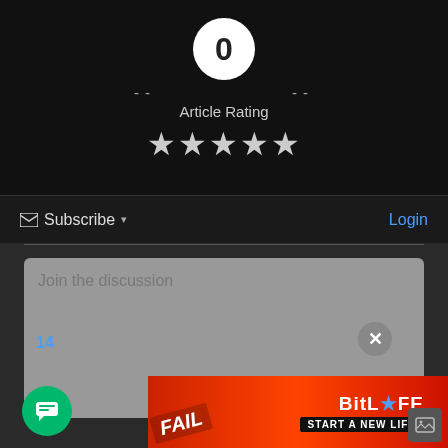[Figure (screenshot): Article rating widget showing a white circle with '0' vote count, dashes on each side, 'Article Rating' label, and 5 grey stars below on a black background]
Subscribe ▾
Login
Join the discussion
14
[Figure (advertisement): BitLife game advertisement with red fire background, 'FAIL' text, cartoon character, and 'START A NEW LIFE' tagline]